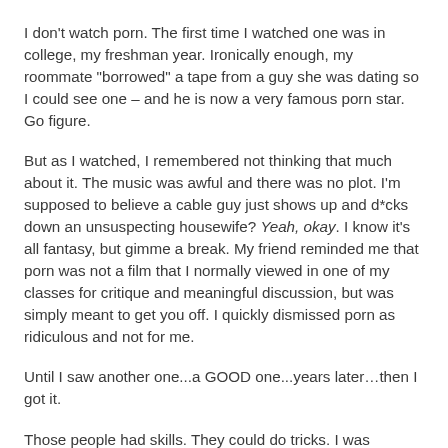I don't watch porn. The first time I watched one was in college, my freshman year. Ironically enough, my roommate "borrowed" a tape from a guy she was dating so I could see one – and he is now a very famous porn star. Go figure.
But as I watched, I remembered not thinking that much about it. The music was awful and there was no plot. I'm supposed to believe a cable guy just shows up and d*cks down an unsuspecting housewife? Yeah, okay. I know it's all fantasy, but gimme a break. My friend reminded me that porn was not a film that I normally viewed in one of my classes for critique and meaningful discussion, but was simply meant to get you off. I quickly dismissed porn as ridiculous and not for me.
Until I saw another one...a GOOD one...years later…then I got it.
Those people had skills. They could do tricks. I was intrigued by their prowess, and it let me know just how much I DIDN'T know when it came to sex. The sex I was having was boring by comparison, so like the good student that I am, I tried to